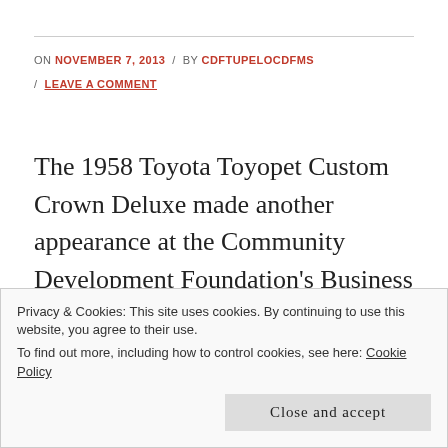ON NOVEMBER 7, 2013 / BY CDFTUPELOCDFMS / LEAVE A COMMENT
The 1958 Toyota Toyopet Custom Crown Deluxe made another appearance at the Community Development Foundation's Business to Business Expo / Taste of Tupelo event on Tuesday, November 5, 2013 in Tupelo, Mississippi at the BancorpSouth Arena. This business networking event had 2000+ people in attendance that
Privacy & Cookies: This site uses cookies. By continuing to use this website, you agree to their use.
To find out more, including how to control cookies, see here: Cookie Policy
Close and accept